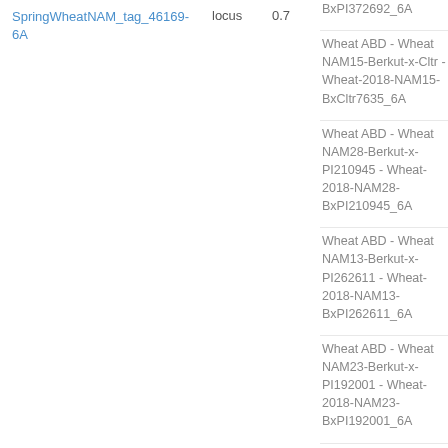SpringWheatNAM_tag_46169-6A   locus   0.7
BxPI372692_6A
Wheat ABD - Wheat NAM15-Berkut-x-Cltr - Wheat-2018-NAM15-BxCltr7635_6A
Wheat ABD - Wheat NAM28-Berkut-x-PI210945 - Wheat-2018-NAM28-BxPI210945_6A
Wheat ABD - Wheat NAM13-Berkut-x-PI262611 - Wheat-2018-NAM13-BxPI262611_6A
Wheat ABD - Wheat NAM23-Berkut-x-PI192001 - Wheat-2018-NAM23-BxPI192001_6A
Wheat ABD - Wheat NAM24-Berkut-x-PI192147 - Wheat-2018-NAM24-BxPI192147_6A
Wheat ABD - Wheat NAM16-Berkut-x-PI8813 - Wheat-2018-NAM16-BxPI8813_6A
Wheat ABD - Wheat